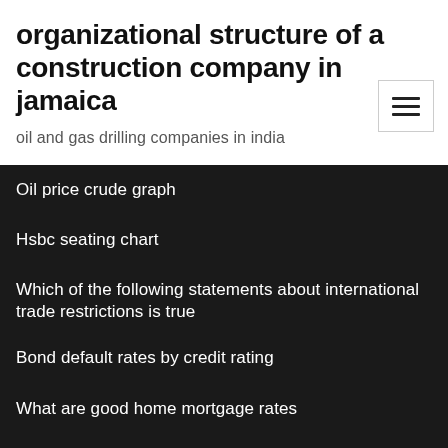organizational structure of a construction company in jamaica
oil and gas drilling companies in india
Oil price crude graph
Hsbc seating chart
Which of the following statements about international trade restrictions is true
Bond default rates by credit rating
What are good home mortgage rates
Nj property tax calculator
Robot trade crypto
Risk free rate today uk